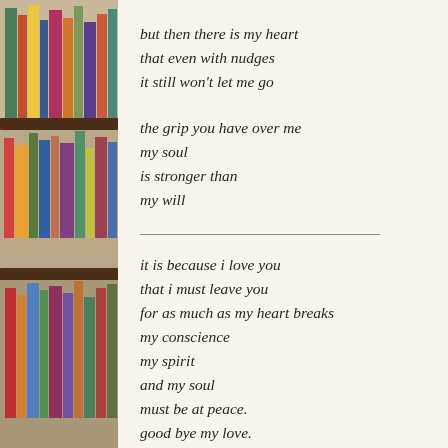[Figure (photo): Photograph of colorful books on wooden shelves, used as a decorative left-side background strip.]
but then there is my heart
that even with nudges
it still won't let me go
the grip you have over me
my soul
is stronger than
my will
it is because i love you
that i must leave you
for as much as my heart breaks
my conscience
my spirit
and my soul
must be at peace.
good bye my love.